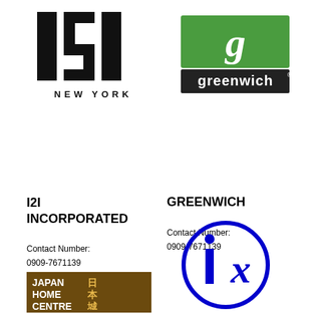[Figure (logo): I2I New York logo — bold block letters I2I stacked above 'NEW YORK' in wide-spaced capitals]
[Figure (logo): Greenwich logo — stylized cursive 'g' on green square background above 'greenwich' text on dark bar]
I2I INCORPORATED
Contact Number:
0909-7671139
GREENWICH
Contact Number:
0909-7671139
[Figure (logo): Japan Home Centre logo — brown rectangle with 'JAPAN HOME CENTRE' in white bold text and Japanese characters in gold]
[Figure (logo): ix logo — blue circle outline containing bold blue italic 'ix' letters]